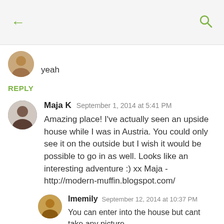[Figure (screenshot): Mobile app top navigation bar with back arrow and search icon on gray background]
yeah
REPLY
Maja K  September 1, 2014 at 5:41 PM
Amazing place! I've actually seen an upside house while I was in Austria. You could only see it on the outside but I wish it would be possible to go in as well. Looks like an interesting adventure :) xx Maja - http://modern-muffin.blogspot.com/
Imemily  September 12, 2014 at 10:37 PM
You can enter into the house but cant take any picture
REPLY